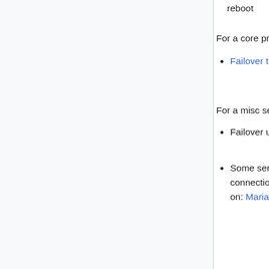reboot
For a core production master:
Failover to another server first (which is not easy)
For a misc server:
Failover using HAProxy (dbproxy1***)
Some services need a reload due to long-running connections or persistent connections. This is documented on: MariaDB/misc
More info on ways to speed up this at MariaDB and MariaDB/troubleshooting
Memcached
Memcached is used as caching layer for MediaWiki and it is co-hosted with Redis on mcXXXX machines (eqiad and